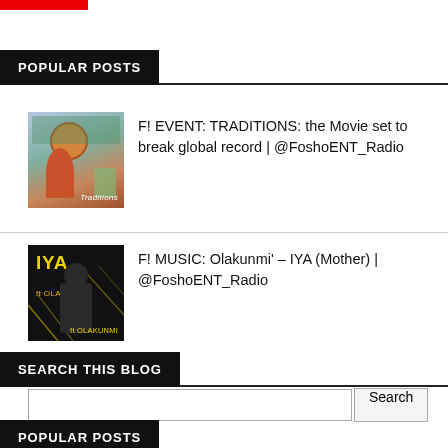[Figure (other): Red decorative bar at top left]
POPULAR POSTS
[Figure (photo): Thumbnail image for Traditions movie post, colorful outdoor scene]
F! EVENT: TRADITIONS: the Movie set to break global record | @FoshoENT_Radio
[Figure (photo): Thumbnail image for IYA album art, black background with gold text showing IYA and Olakunmi]
F! MUSIC: Olakunmi' – IYA (Mother) | @FoshoENT_Radio
SEARCH THIS BLOG
Search
POPULAR POSTS